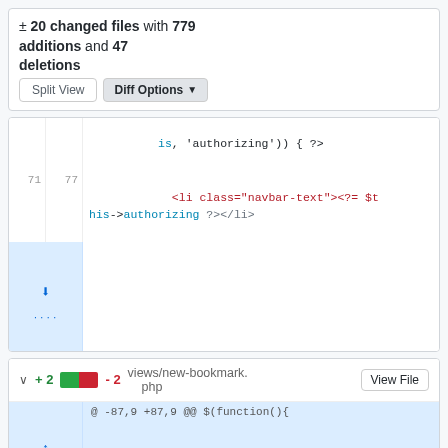± 20 changed files with 779 additions and 47 deletions
[Figure (screenshot): Git diff view showing code changes in two files. First section shows PHP code with line 71/77 displaying '<li class="navbar-text"><?= $this->authorizing ?></li>'. Second section shows views/new-bookmark.php with +2/-2 changes at @@ -87,9 +87,9 @@ $(function(){ including removal of commented-out // $("#test_success").removeClass('hidden'); and addition of $("#test_success").removeClass('hidden'); as well as $("#test_error").addClass('hidden');]